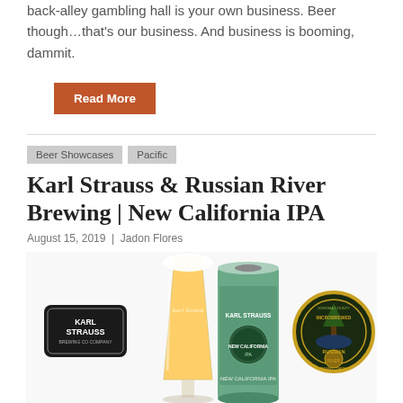what you do in the privacy of your own back-alley gambling hall is your own business. Beer though…that's our business. And business is booming, dammit.
Read More
Beer Showcases   Pacific
Karl Strauss & Russian River Brewing | New California IPA
August 15, 2019 | Jadon Flores
[Figure (photo): Karl Strauss beer glass and New California IPA can with Karl Strauss Brewing Company logo on left and Russian River Brewing circular logo on right]
...